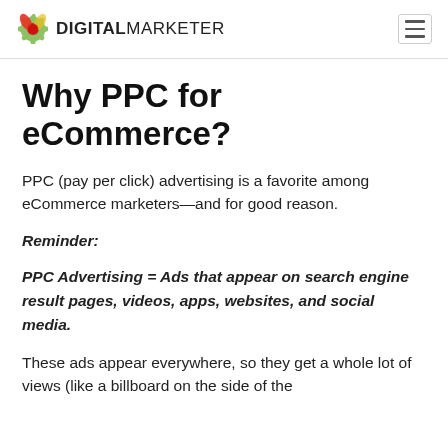DIGITAL MARKETER
Why PPC for eCommerce?
PPC (pay per click) advertising is a favorite among eCommerce marketers—and for good reason.
Reminder:
PPC Advertising = Ads that appear on search engine result pages, videos, apps, websites, and social media.
These ads appear everywhere, so they get a whole lot of views (like a billboard on the side of the